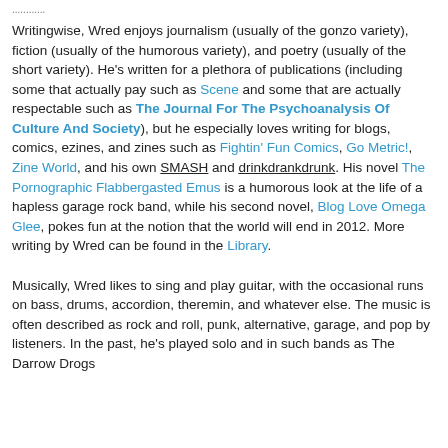...........
Writingwise, Wred enjoys journalism (usually of the gonzo variety), fiction (usually of the humorous variety), and poetry (usually of the short variety). He's written for a plethora of publications (including some that actually pay such as Scene and some that are actually respectable such as The Journal For The Psychoanalysis Of Culture And Society), but he especially loves writing for blogs, comics, ezines, and zines such as Fightin' Fun Comics, Go Metric!, Zine World, and his own SMASH and drinkdrankdrunk. His novel The Pornographic Flabbergasted Emus is a humorous look at the life of a hapless garage rock band, while his second novel, Blog Love Omega Glee, pokes fun at the notion that the world will end in 2012. More writing by Wred can be found in the Library.
Musically, Wred likes to sing and play guitar, with the occasional runs on bass, drums, accordion, theremin, and whatever else. The music is often described as rock and roll, punk, alternative, garage, and pop by listeners. In the past, he's played solo and in such bands as The Darrow Drags...